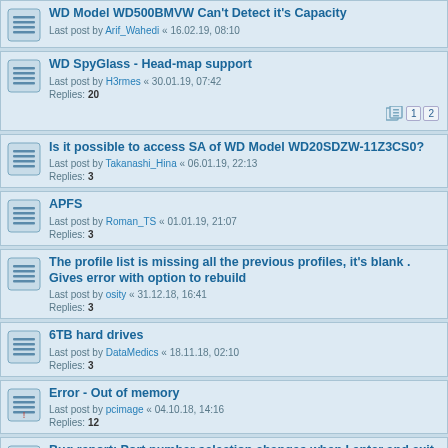WD Model WD500BMVW Can't Detect it's Capacity
Last post by Arif_Wahedi « 16.02.19, 08:10
WD SpyGlass - Head-map support
Last post by H3rmes « 30.01.19, 07:42
Replies: 20
Is it possible to access SA of WD Model WD20SDZW-11Z3CS0?
Last post by Takanashi_Hina « 06.01.19, 22:13
Replies: 3
APFS
Last post by Roman_TS « 01.01.19, 21:07
Replies: 3
The profile list is missing all the previous profiles, it's blank . Gives error with option to rebuild
Last post by osity « 31.12.18, 16:41
Replies: 3
6TB hard drives
Last post by DataMedics « 18.11.18, 02:10
Replies: 3
Error - Out of memory
Last post by pcimage « 04.10.18, 14:16
Replies: 12
Bug report: Port number selection changes when I enter and exit utilities
Last post by zeroalpha « 24.08.18, 04:20
Replies: 4
How restore !Profiles Location ?
Last post by H3rmes « 16.08.18, 08:30
Replies: 2